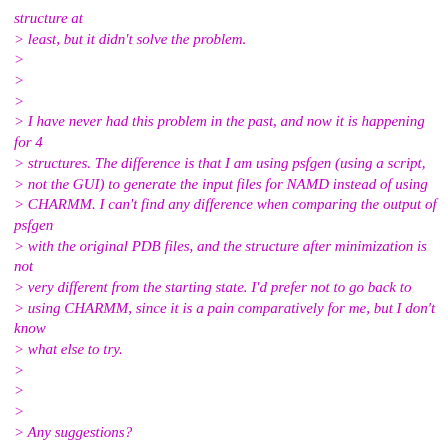structure at
> least, but it didn't solve the problem.
>
>
>
> I have never had this problem in the past, and now it is happening for 4
> structures. The difference is that I am using psfgen (using a script,
> not the GUI) to generate the input files for NAMD instead of using
> CHARMM. I can't find any difference when comparing the output of psfgen
> with the original PDB files, and the structure after minimization is not
> very different from the starting state. I'd prefer not to go back to
> using CHARMM, since it is a pain comparatively for me, but I don't know
> what else to try.
>
>
>
> Any suggestions?
>
>